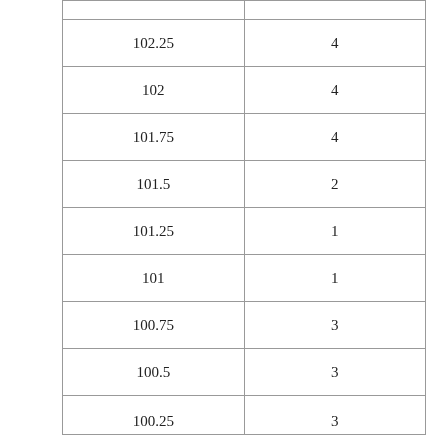|  |  |
| 102.25 | 4 |
| 102 | 4 |
| 101.75 | 4 |
| 101.5 | 2 |
| 101.25 | 1 |
| 101 | 1 |
| 100.75 | 3 |
| 100.5 | 3 |
| 100.25 | 3 |